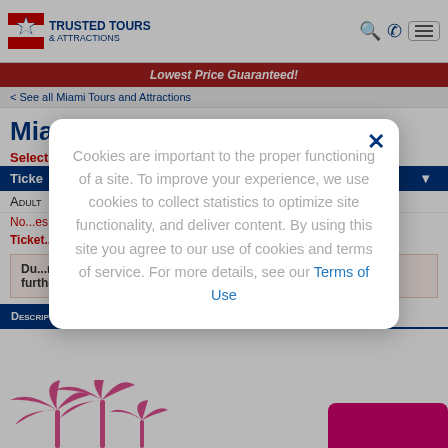Trusted Tours & Attractions
Lowest Price Guaranteed!
< See all Miami Tours and Attractions
Miami Dance Cruise
Select
| Ticket Type |  |
| --- | --- |
| Adult |  |
No ... es.
Ticket ... ough
Due to the COVID-19 pandemic, this tour is temporarily closed until further notice.
[Figure (screenshot): Cookie consent modal dialog with close button and Terms of Use link]
Description | Details | Map | Photos | Video
[Figure (illustration): Pink palm tree illustration at bottom of page]